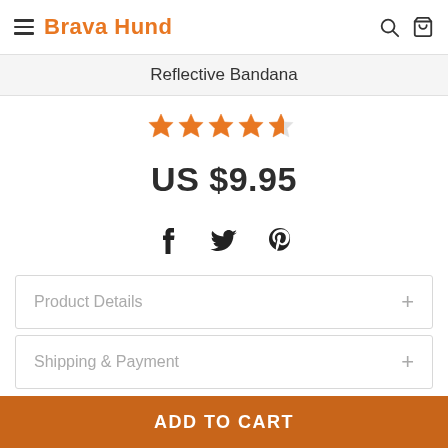Brava Hund
Reflective Bandana
[Figure (other): Star rating: 4.5 out of 5 stars (4 full stars and 1 half star)]
US $9.95
[Figure (other): Social sharing icons: Facebook, Twitter, Pinterest]
Product Details +
Shipping & Payment +
ADD TO CART